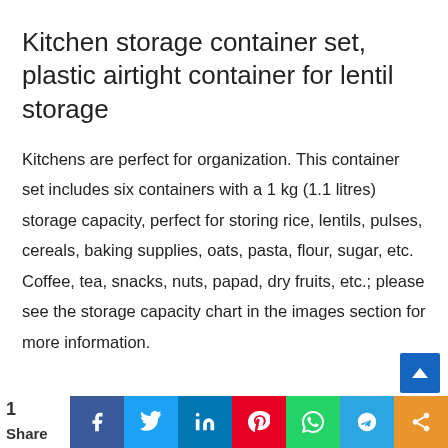Kitchen storage container set, plastic airtight container for lentil storage
Kitchens are perfect for organization. This container set includes six containers with a 1 kg (1.1 litres) storage capacity, perfect for storing rice, lentils, pulses, cereals, baking supplies, oats, pasta, flour, sugar, etc. Coffee, tea, snacks, nuts, papad, dry fruits, etc.; please see the storage capacity chart in the images section for more information.
1 Share | Facebook | Twitter | LinkedIn | Pinterest | WhatsApp | Telegram | Share